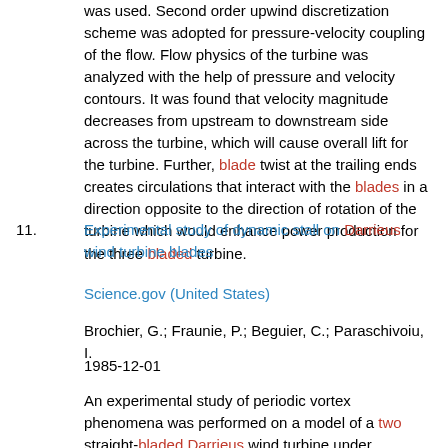was used. Second order upwind discretization scheme was adopted for pressure-velocity coupling of the flow. Flow physics of the turbine was analyzed with the help of pressure and velocity contours. It was found that velocity magnitude decreases from upstream to downstream side across the turbine, which will cause overall lift for the turbine. Further, blade twist at the trailing ends creates circulations that interact with the blades in a direction opposite to the direction of rotation of the turbine which would enhance power production for the three bladed turbine.
11. Experimental study of dynamic stall on Darrieus wind turbine blades
Science.gov (United States)
Brochier, G.; Fraunie, P.; Beguier, C.; Paraschivoiu, I.
1985-12-01
An experimental study of periodic vortex phenomena was performed on a model of a two straight-bladed Darrieus wind turbine under controlled-rotation conditions in the IMST water tunnel. The main focus of interest was the tip-speed ratios at